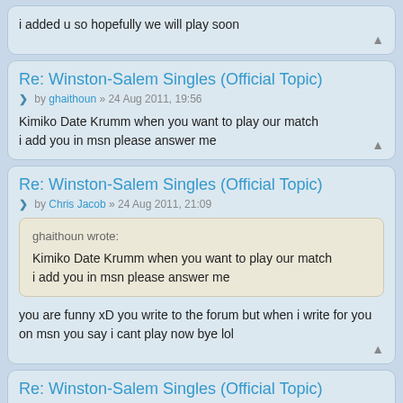i added u so hopefully we will play soon
Re: Winston-Salem Singles (Official Topic)
by ghaithoun » 24 Aug 2011, 19:56
Kimiko Date Krumm when you want to play our match
i add you in msn please answer me
Re: Winston-Salem Singles (Official Topic)
by Chris Jacob » 24 Aug 2011, 21:09
ghaithoun wrote:
Kimiko Date Krumm when you want to play our match
i add you in msn please answer me
you are funny xD you write to the forum but when i write for you on msn you say i cant play now bye lol
Re: Winston-Salem Singles (Official Topic)